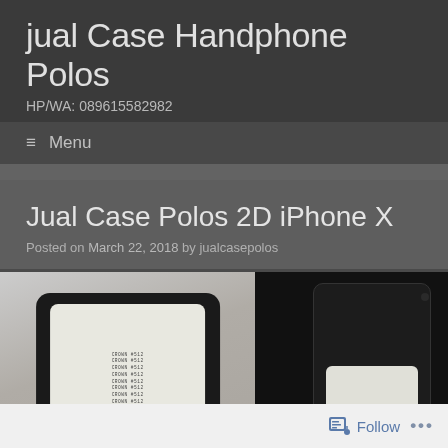jual Case Handphone Polos
HP/WA: 089615582982
≡  Menu
Jual Case Polos 2D iPhone X
Posted on March 22, 2018 by jualcasepolos
[Figure (photo): Two iPhone X cases side by side: left shows a phone case with printed CROWN #512 text pattern on white insert, right shows a plain white insert in a black case against dark background]
Follow  •••